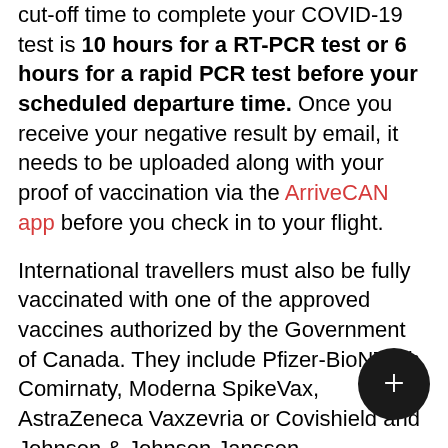cut-off time to complete your COVID-19 test is 10 hours for a RT-PCR test or 6 hours for a rapid PCR test before your scheduled departure time. Once you receive your negative result by email, it needs to be uploaded along with your proof of vaccination via the ArriveCAN app before you check in to your flight.
International travellers must also be fully vaccinated with one of the approved vaccines authorized by the Government of Canada. They include Pfizer-BioNTech Comirnaty, Moderna SpikeVax, AstraZeneca Vaxzevria or Covishield and Johnson & Johnson Janssen.
If you're a student studying at a designated learning institute and you've received a vaccine...